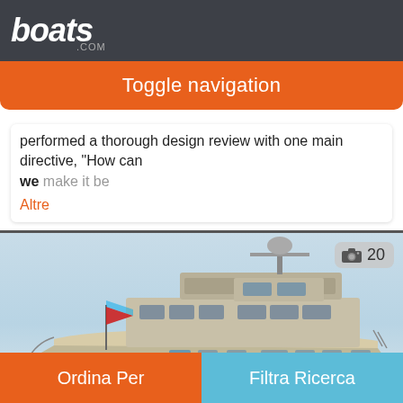boats.com
Toggle navigation
performed a thorough design review with one main directive, "How can we make it be
Altre
[Figure (photo): Side profile rendering of a large motor yacht with BARRACUDA YACHT DESIGN watermark, showing a white/silver hull with flag, superstructure details, and a camera badge showing 20 photos.]
Ordina Per
Filtra Ricerca